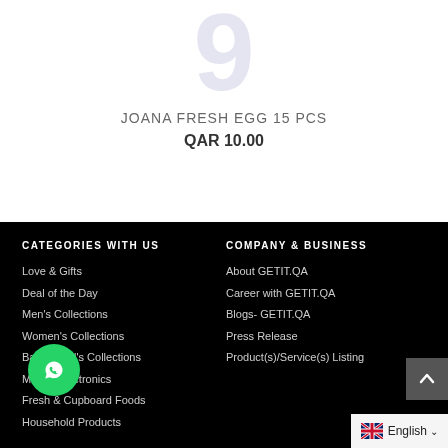[Figure (logo): Large watermark-style number 9 logo in light gray/lavender at top of page]
JOANA FRESH EGG 15 PCS
QAR 10.00
CATEGORIES WITH US
Love & Gifts
Deal of the Day
Men's Collections
Women's Collections
Baby & Kid's Collections
Mobile Electronics
Fresh & Cupboard Foods
Household Products
COMPANY & BUSINESS
About GETIT.QA
Career with GETIT.QA
Blogs- GETIT.QA
Press Release
Product(s)/Service(s) Listing
English